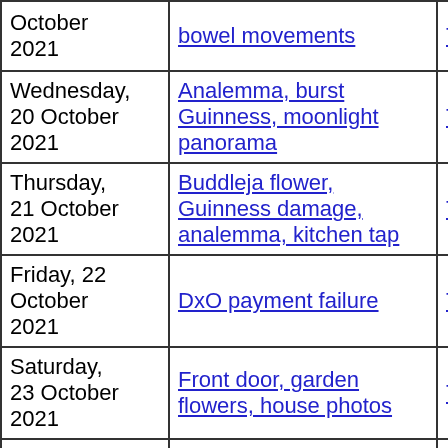| Date | Title | Thumbnails | Small photos | dia |
| --- | --- | --- | --- | --- |
| October 2021 | bowel movements | Thumbnails | Small photos | dia |
| Wednesday, 20 October 2021 | Analemma, burst Guinness, moonlight panorama | Thumbnails | Small photos | dia |
| Thursday, 21 October 2021 | Buddleja flower, Guinness damage, analemma, kitchen tap | Thumbnails | Small photos | dia |
| Friday, 22 October 2021 | DxO payment failure | Thumbnails | Small photos | dia |
| Saturday, 23 October 2021 | Front door, garden flowers, house photos | Thumbnails | Small photos | dia |
| Sunday, 24 October 2021 | Kang kong, house and garden flowers, Tean's vegetable curry | Thumbnails | Small photos | dia |
| Monday, 25 October 2021 | Garden, DxO display | Thumbnails | Small photos | dia |
| Tuesday, 26 October 2021 | Google maps tracking, analemma, flowers, Larissa and Lena, mite- | Thumbnails | Small photos | dia |